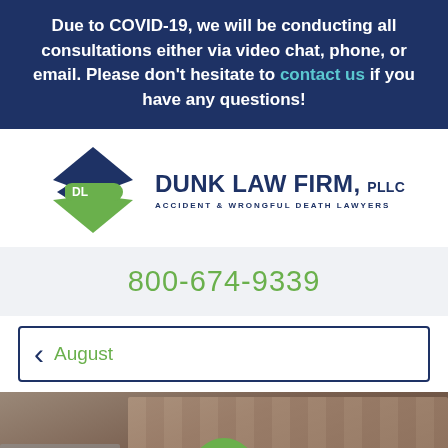Due to COVID-19, we will be conducting all consultations either via video chat, phone, or email. Please don't hesitate to contact us if you have any questions!
[Figure (logo): Dunk Law Firm, PLLC logo with diamond shape containing DL initials and firm name]
800-674-9339
August
[Figure (photo): Background photo of a truck/cargo scene with text overlay reading 'The Com... T...' and menu button and 'Text Us Now' button overlay]